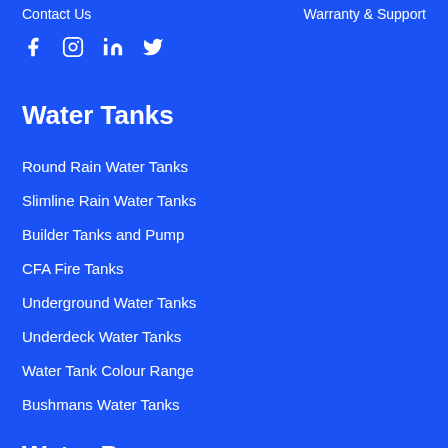Contact Us
Warranty & Support
[Figure (illustration): Social media icons: Facebook, Instagram, LinkedIn, Twitter]
Water Tanks
Round Rain Water Tanks
Slimline Rain Water Tanks
Builder Tanks and Pump
CFA Fire Tanks
Underground Water Tanks
Underdeck Water Tanks
Water Tank Colour Range
Bushmans Water Tanks
Water Pumps